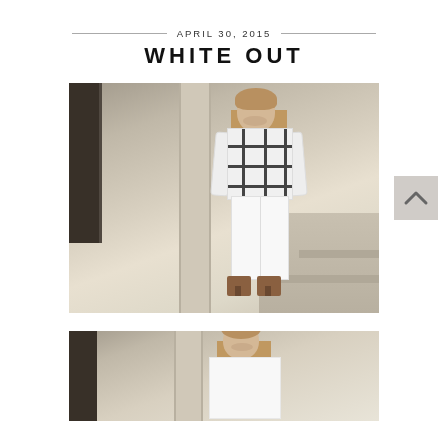APRIL 30, 2015
WHITE OUT
[Figure (photo): Woman wearing a black and white plaid/grid print sweater with white cropped jeans and brown heeled sandals, posing on a sidewalk in front of a building with columns and steps]
[Figure (photo): Second photo of woman in white outfit, partially visible at bottom of page, standing in front of similar architectural background]